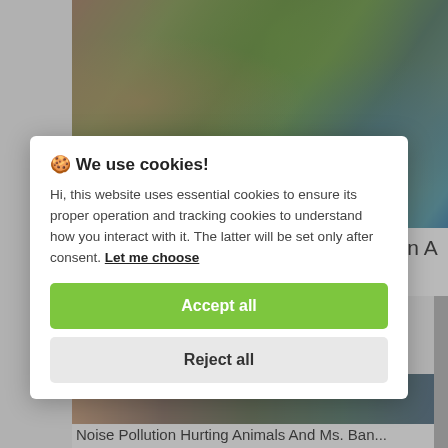[Figure (photo): Close-up photo of green bananas/plantains and tropical green foliage]
Uganda's Efforts To Address Vitamin A Deficiency Miss The Mark...
[Figure (screenshot): Cookie consent modal dialog with 'We use cookies!' header, descriptive text, Accept all and Reject all buttons]
🍪 We use cookies!
Hi, this website uses essential cookies to ensure its proper operation and tracking cookies to understand how you interact with it. The latter will be set only after consent. Let me choose
Accept all
Reject all